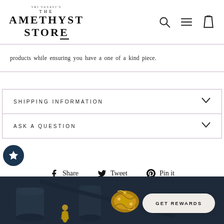SRI VASAVI'S THE AMETHYST STORE
products while ensuring you have a one of a kind piece.
SHIPPING INFORMATION
ASK A QUESTION
Share  Tweet  Pin it
[Figure (photo): Dark background image of ornate golden jewelry/crown piece and decorative objects]
GET REWARDS